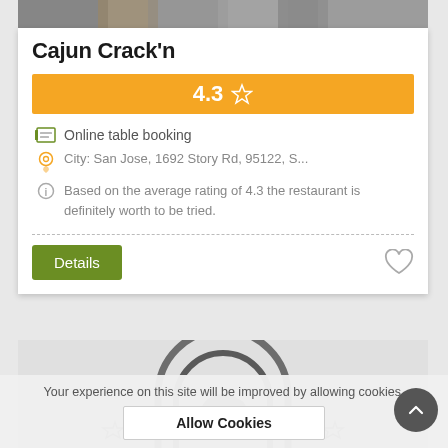[Figure (photo): Partial photo of food at top of card (cropped, showing seafood/oysters)]
Cajun Crack'n
4.3 ☆
Online table booking
City: San Jose, 1692 Story Rd, 95122, S...
Based on the average rating of 4.3 the restaurant is definitely worth to be tried.
[Figure (illustration): Second card with a circular/arch logo graphic in grey tones]
Your experience on this site will be improved by allowing cookies.
Allow Cookies